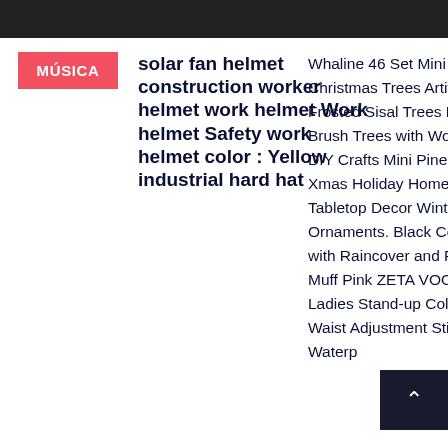MÚSICA
solar fan helmet construction worker helmet work helmet Work helmet Safety work helmet color : Yellow industrial hard hat
Whaline 46 Set Mini Christmas Trees Artificial Frosted Sisal Trees Bottle Brush Trees with Wood Base DIY Crafts Mini Pine Tree for Xmas Holiday Home Tabletop Decor Winter Ornaments. Black Complete with Raincover and Foot Muff Pink ZETA VOOOM. Ladies Stand-up Collar Waist Adjustment Stitching Waterp